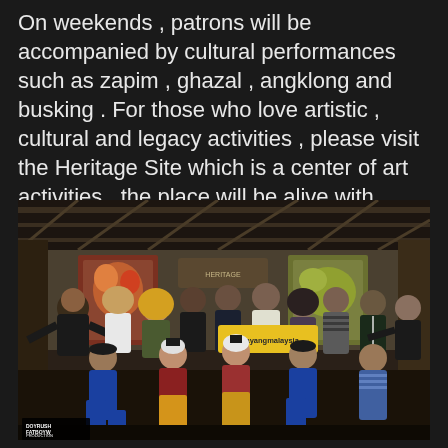On weekends , patrons will be accompanied by cultural performances such as zapim , ghazal , angklong and busking . For those who love artistic , cultural and legacy activities , please visit the Heritage Site which is a center of art activities . the place will be alive with various performances such as traditional songs and dances for visitors .
[Figure (photo): Group photo of people at a cultural heritage site. In the front row, performers wearing traditional Malaysian costumes (blue baju melayu and baju kurung in red/gold). Behind them stand a group of visitors and organizers. Some performers hold a sign reading '#sayangmalaysia'. A watermark in the bottom-left corner reads 'DOYRUSH FATBOYW PRODUCTION'.]